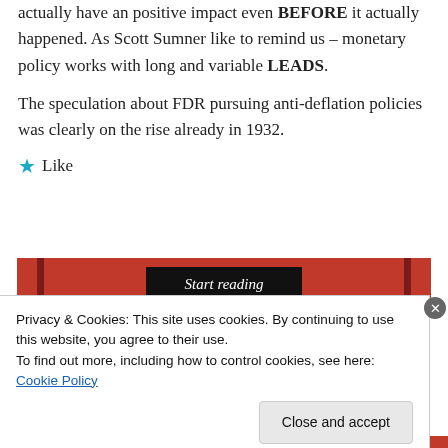actually have an positive impact even BEFORE it actually happened. As Scott Sumner like to remind us – monetary policy works with long and variable LEADS.
The speculation about FDR pursuing anti-deflation policies was clearly on the rise already in 1932.
★ Like
[Figure (screenshot): Red banner with black 'Start reading' button in italic text]
Privacy & Cookies: This site uses cookies. By continuing to use this website, you agree to their use.
To find out more, including how to control cookies, see here: Cookie Policy
Close and accept